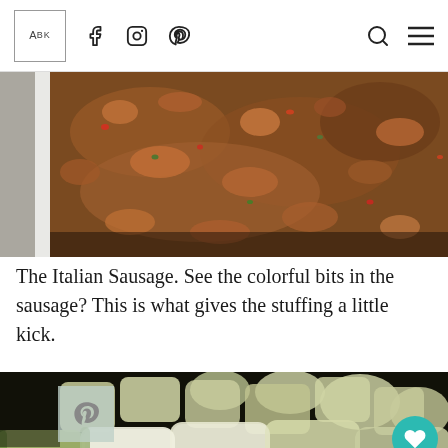A BK logo with social icons: Facebook, Instagram, Pinterest, and search/menu icons
[Figure (photo): Close-up photo of cooked Italian sausage crumbles with colorful pepper bits visible, served on a white plate, dark background.]
The Italian Sausage. See the colorful bits in the sausage? This is what gives the stuffing a little kick.
[Figure (photo): Close-up photo of chopped apple pieces (green and white) in a dark pan or skillet, Pinterest overlay button visible in top-left corner, heart/share buttons on right side.]